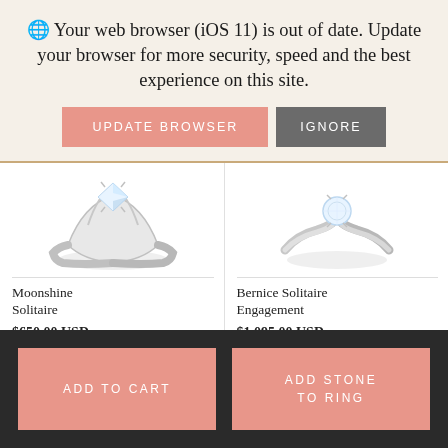🌐 Your web browser (iOS 11) is out of date. Update your browser for more security, speed and the best experience on this site.
UPDATE BROWSER
IGNORE
[Figure (photo): Diamond solitaire engagement ring - Moonshine Solitaire, silver band with princess cut diamond]
Moonshine Solitaire
$650.00 USD
[Figure (photo): Diamond solitaire engagement ring - Bernice Solitaire Engagement, silver curved band with round diamond]
Bernice Solitaire Engagement
$1,095.00 USD
ADD TO CART
ADD STONE TO RING